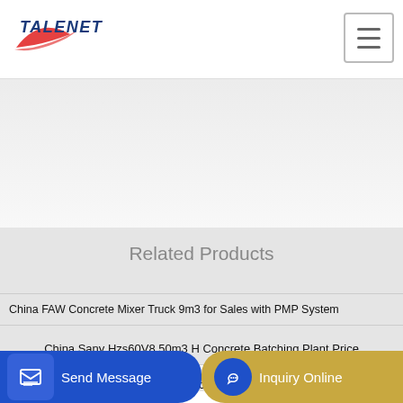[Figure (logo): Talenet company logo with red swoosh and blue bold italic text TALENET]
Related Products
China FAW Concrete Mixer Truck 9m3 for Sales with PMP System
China Sany Hzs60V8 50m3 H Concrete Batching Plant Price
batchin
Send Message
Inquiry Online